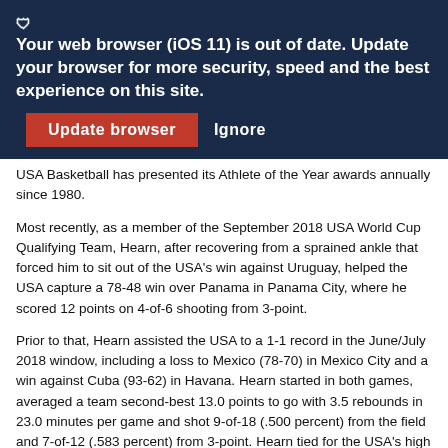🛡 Your web browser (iOS 11) is out of date. Update your browser for more security, speed and the best experience on this site. [Update browser] [Ignore]
USA Basketball has presented its Athlete of the Year awards annually since 1980.
Most recently, as a member of the September 2018 USA World Cup Qualifying Team, Hearn, after recovering from a sprained ankle that forced him to sit out of the USA's win against Uruguay, helped the USA capture a 78-48 win over Panama in Panama City, where he scored 12 points on 4-of-6 shooting from 3-point.
Prior to that, Hearn assisted the USA to a 1-1 record in the June/July 2018 window, including a loss to Mexico (78-70) in Mexico City and a win against Cuba (93-62) in Havana. Hearn started in both games, averaged a team second-best 13.0 points to go with 3.5 rebounds in 23.0 minutes per game and shot 9-of-18 (.500 percent) from the field and 7-of-12 (.583 percent) from 3-point. Hearn tied for the USA's high scorer with 16 points on 6-of-8